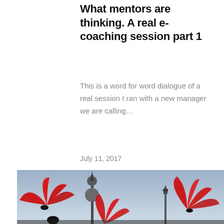What mentors are thinking. A real e-coaching session part 1
This is a word for word dialogue of a real session I ran with a new manager we are calling…
July 11, 2017
[Figure (photo): Photograph of red fan dancers performing in front of the Oriental Pearl Tower in Shanghai, with a pale blue sky in the background.]